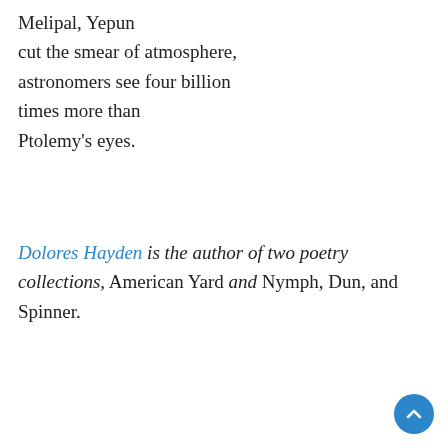Melipal, Yepun
cut the smear of atmosphere,
astronomers see four billion
times more than
Ptolemy's eyes.
Dolores Hayden is the author of two poetry collections, American Yard and Nymph, Dun, and Spinner.